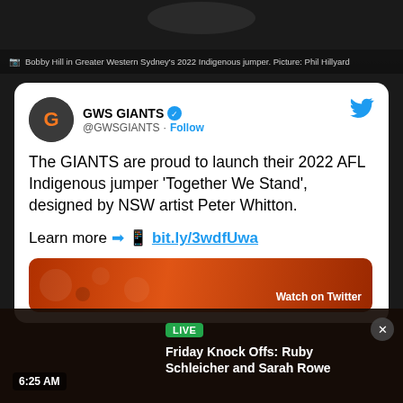[Figure (photo): Dark background photo area at top of page, likely showing a sports jersey or similar]
Bobby Hill in Greater Western Sydney's 2022 Indigenous jumper. Picture: Phil Hillyard
[Figure (screenshot): Twitter/X post from GWS Giants account announcing their 2022 AFL Indigenous jumper 'Together We Stand' designed by NSW artist Peter Whitton, with a link bit.ly/3wdfUwa and a preview image showing the jumper with 'Watch on Twitter' overlay]
The GIANTS are proud to launch their 2022 AFL Indigenous jumper 'Together We Stand', designed by NSW artist Peter Whitton.
Learn more ➡️📱 bit.ly/3wdfUwa
LIVE
Friday Knock Offs: Ruby Schleicher and Sarah Rowe
6:25 AM